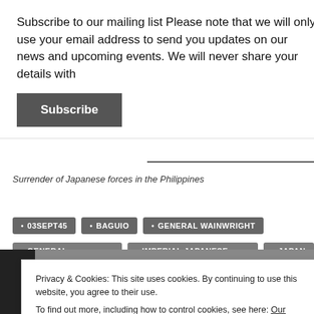Subscribe to our mailing list Please note that we will only use your email address to send you updates on our news and upcoming events. We will never share your details with
Subscribe
Surrender of Japanese forces in the Philippines
• 03SEPT45
• BAGUIO
• GENERAL WAINWRIGHT
• GENERAL YAMASHITA
• IMPERIAL JAPANESE ARMY
• JAPAN
Privacy & Cookies: This site uses cookies. By continuing to use this website, you agree to their use. To find out more, including how to control cookies, see here: Our Cookie Policy
Close and accept